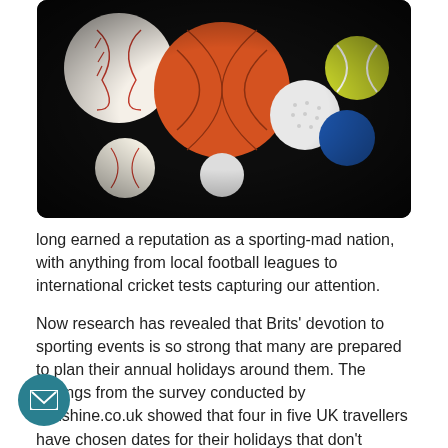[Figure (photo): Collection of various sports balls including baseball, basketball, golf ball, tennis ball, and others on a dark background]
long earned a reputation as a sporting-mad nation, with anything from local football leagues to international cricket tests capturing our attention.
Now research has revealed that Brits' devotion to sporting events is so strong that many are prepared to plan their annual holidays around them. The findings from the survey conducted by sunshine.co.uk showed that four in five UK travellers have chosen dates for their holidays that don't conflict with major sporting events.
Weddings and birthdays also topped the list of unmissable events, with scores of Brits staying on UK shores to ensure they don't miss out on catching the bouquet or singing a rousing rendition of Happy Birthday. In contrast, just 7%